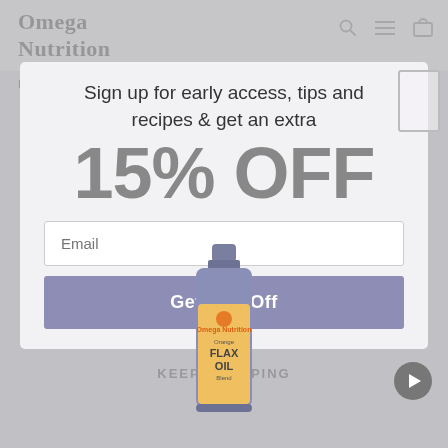Omega Nutrition
Home / Flax Seed Products / Orange Blend Flax Oil
Sign up for early access, tips and recipes & get an extra
15% OFF
Email
Get 15% Off
KEEP SHOPPING
[Figure (photo): Omega Nutrition Orange Blend Flax Oil product bottle]